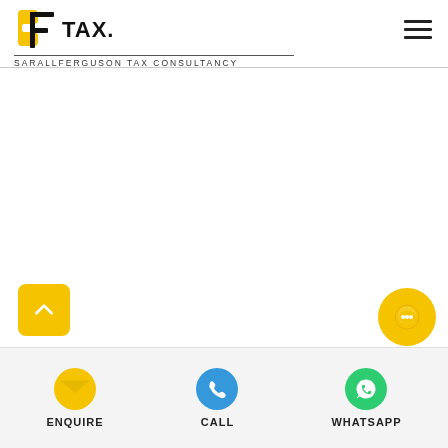SF TAX. — SARALLFERGUSON TAX CONSULTANCY
[Figure (logo): SF Tax logo with yellow and black S and F letterforms, TAX. text, and SARALLFERGUSON TAX CONSULTANCY text below]
[Figure (other): Back to top button (yellow rounded square with up chevron) and chat bubble (yellow circle) floating buttons]
ENQUIRE  CALL  WHATSAPP